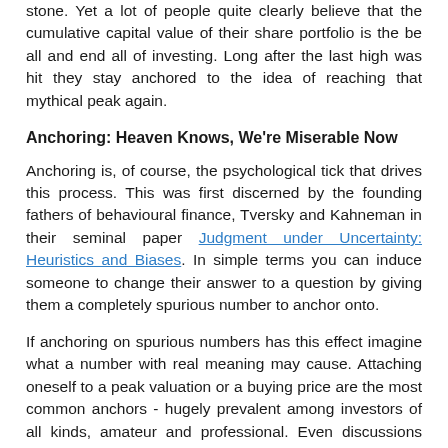stone. Yet a lot of people quite clearly believe that the cumulative capital value of their share portfolio is the be all and end all of investing. Long after the last high was hit they stay anchored to the idea of reaching that mythical peak again.
Anchoring: Heaven Knows, We're Miserable Now
Anchoring is, of course, the psychological tick that drives this process. This was first discerned by the founding fathers of behavioural finance, Tversky and Kahneman in their seminal paper Judgment under Uncertainty: Heuristics and Biases. In simple terms you can induce someone to change their answer to a question by giving them a completely spurious number to anchor onto.
If anchoring on spurious numbers has this effect imagine what a number with real meaning may cause. Attaching oneself to a peak valuation or a buying price are the most common anchors - hugely prevalent among investors of all kinds, amateur and professional. Even discussions about market performance are commonly anchored on the all time high of equities, among other things.